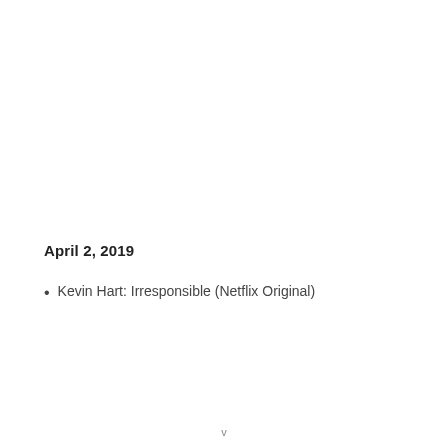April 2, 2019
Kevin Hart: Irresponsible (Netflix Original)
v